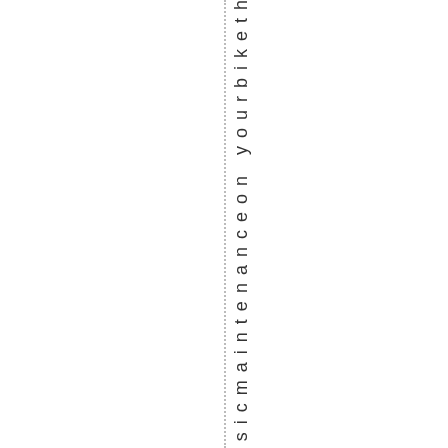mebasicmaintenanceon yourbiketh